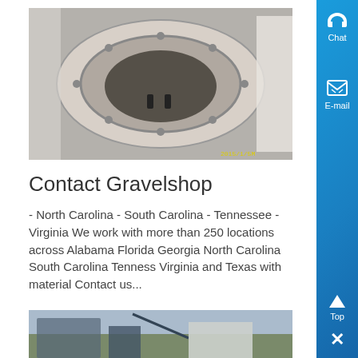[Figure (photo): Industrial circular machinery or furnace component viewed from above, inside a facility]
Contact Gravelshop
- North Carolina - South Carolina - Tennessee - Virginia We work with more than 250 locations across Alabama Florida Georgia North Carolina South Carolina Tenness Virginia and Texas with material Contact us...
[Figure (other): Button labeled Know More with teal/cyan background]
[Figure (photo): Outdoor industrial or construction equipment scene at the bottom of the page]